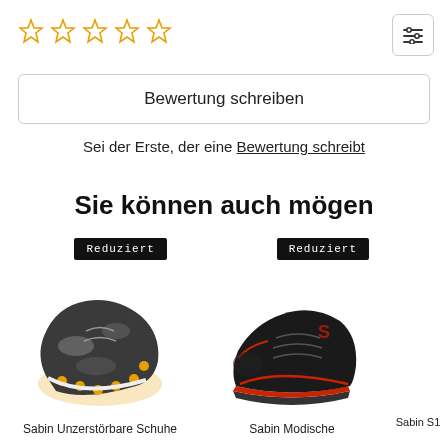[Figure (other): Five empty star rating icons in gold outline]
[Figure (other): Filter/settings sliders icon in a bordered box]
Bewertung schreiben
Sei der Erste, der eine Bewertung schreibt
Sie können auch mögen
[Figure (photo): Sabin safety shoe with orange sole and camouflage pattern, 'Reduziert' badge on top]
[Figure (photo): Sabin black athletic/safety sneaker with red accents, 'Reduziert' badge on top]
Sabin Unzerstörbare Schuhe
Sabin Modische
Sabin S1